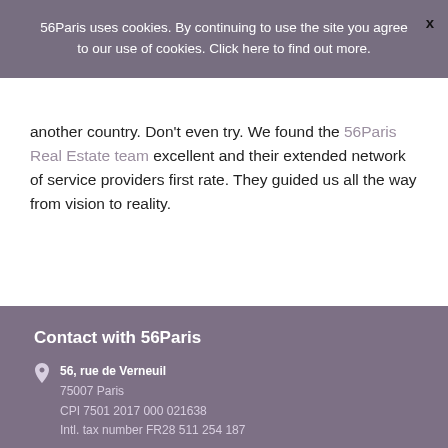56Paris uses cookies. By continuing to use the site you agree to our use of cookies. Click here to find out more. X
another country. Don't even try. We found the 56Paris Real Estate team excellent and their extended network of service providers first rate. They guided us all the way from vision to reality.
Contact with 56Paris
56, rue de Verneuil
75007 Paris
CPI 7501 2017 000 021638
Intl. tax number FR28 511 254 187